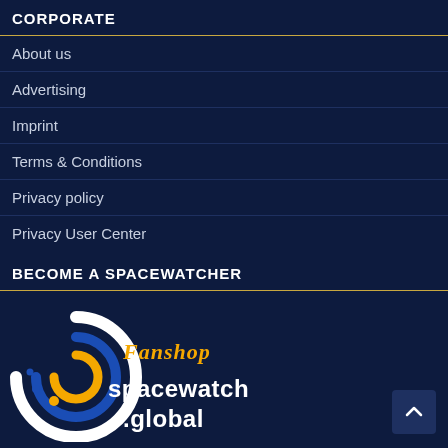CORPORATE
About us
Advertising
Imprint
Terms & Conditions
Privacy policy
Privacy User Center
BECOME A SPACEWATCHER
[Figure (logo): Spacewatch Global Fanshop logo with circular icon in white, blue and orange, with 'FANSHOP' in orange and 'spacewatch.global' in white]